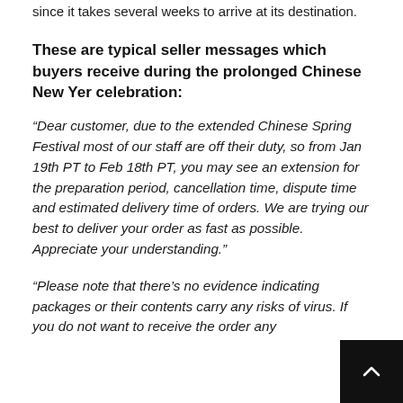since it takes several weeks to arrive at its destination.
These are typical seller messages which buyers receive during the prolonged Chinese New Yer celebration:
“Dear customer, due to the extended Chinese Spring Festival most of our staff are off their duty, so from Jan 19th PT to Feb 18th PT, you may see an extension for the preparation period, cancellation time, dispute time and estimated delivery time of orders. We are trying our best to deliver your order as fast as possible. Appreciate your understanding.”
“Please note that there’s no evidence indicating packages or their contents carry any risks of virus. If you do not want to receive the order any